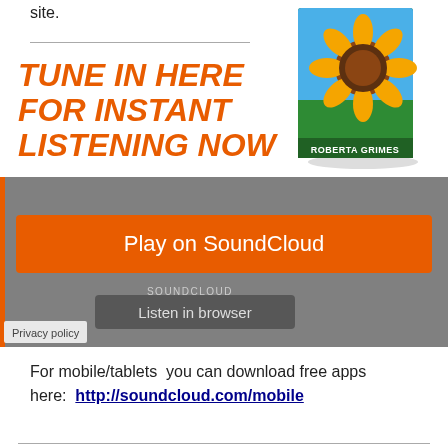site.
[Figure (illustration): Book cover with sunflower image and text 'ROBERTA GRIMES']
TUNE IN HERE FOR INSTANT LISTENING NOW
[Figure (screenshot): SoundCloud embedded player with orange 'Play on SoundCloud' button and grey 'Listen in browser' button, plus 'Privacy policy' link]
For mobile/tablets  you can download free apps here:  http://soundcloud.com/mobile